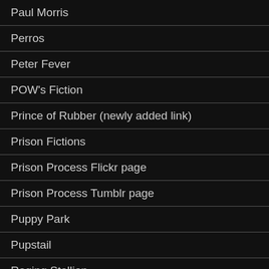Paul Morris
Perros
Peter Fever
POW's Fiction
Prince of Rubber (newly added link)
Prison Fictions
Prison Process Flickr page
Prison Process Tumblr page
Puppy Park
Pupstail
Raging Stallion
Real Working Men
Red Hot Straight Boys (newly added link)